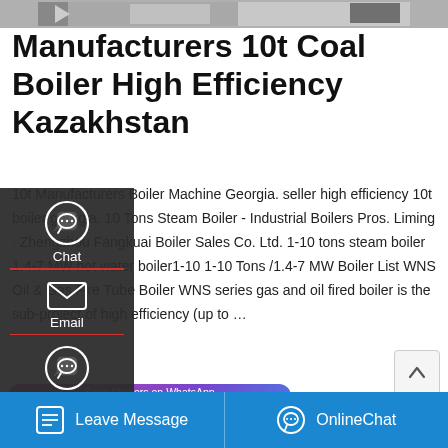[Figure (photo): Top strip showing industrial boiler machinery, grayscale equipment photo]
Manufacturers 10t Coal Boiler High Efficiency Kazakhstan
10t Manufacturers Boiler Machine Georgia. seller high efficiency 10t boiler georgia. 10 Tons Steam Boiler - Industrial Boilers Pros. Liming · Zhengzhou Fangkuai Boiler Sales Co. Ltd. 1-10 tons steam boiler 1.4-7 MW hot water boiler1-10 1-10 Tons /1.4-7 MW Boiler List WNS Oil & Gas Fire Tube Boiler WNS series gas and oil fired boiler is the sub-project of high efficiency (up to …
[Figure (screenshot): Sidebar overlay with Chat, Email, and Contact icons on dark background]
[Figure (screenshot): Get a Quote button in gold/yellow rounded rectangle with chat bubble icon]
[Figure (screenshot): Save Stickers on WhatsApp banner with gradient purple-blue background and WhatsApp phone and emoji icons]
[Figure (photo): Industrial boiler equipment photo at bottom right]
[Figure (screenshot): Scroll-up button with upward arrow icon]
Leave Message   OnlineChat